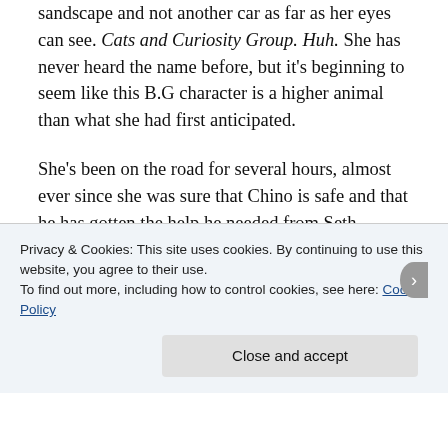sandscape and not another car as far as her eyes can see. Cats and Curiosity Group. Huh. She has never heard the name before, but it's beginning to seem like this B.G character is a higher animal than what she had first anticipated.
She's been on the road for several hours, almost ever since she was sure that Chino is safe and that he has gotten the help he needed from Seth Pascal. She drove past his apartment the last thing she did, putting up a magical ward around his building just to be sure. Even if the ritualists can't scry him magically anymore, that's still no guarantee that they
Privacy & Cookies: This site uses cookies. By continuing to use this website, you agree to their use.
To find out more, including how to control cookies, see here: Cookie Policy
Close and accept